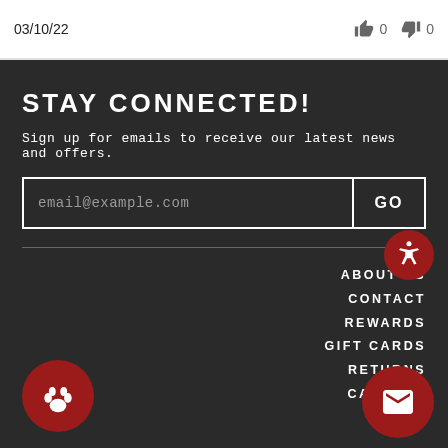03/10/22
0  0
STAY CONNECTED!
Sign up for emails to receive our latest news and offers.
email@example.com
GO
ABOUT US
CONTACT
REWARDS
GIFT CARDS
RETURNS
CAREERS